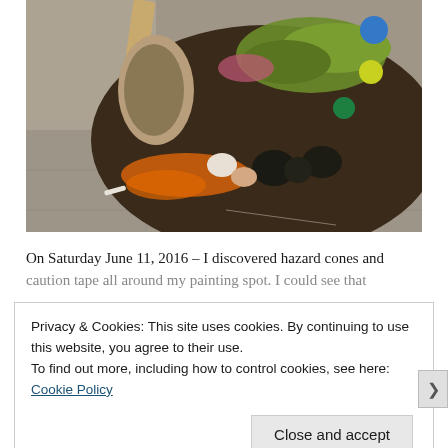[Figure (photo): A close-up photograph of a painter's palette lying on a concrete floor. The oval wooden palette is covered with mixed paint colors including green, orange, black, white, pink, blue, and yellow blobs of paint. A wooden easel leg is visible in the background.]
On Saturday June 11, 2016 – I discovered hazard cones and caution tape all around my painting spot. I could see that
Privacy & Cookies: This site uses cookies. By continuing to use this website, you agree to their use.
To find out more, including how to control cookies, see here: Cookie Policy
Close and accept